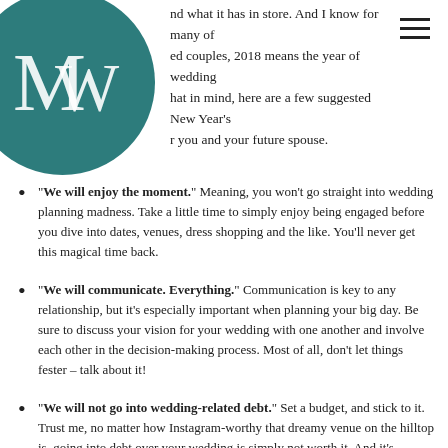[Figure (logo): Teal circular logo with stylized MW initials]
nd what it has in store. And I know for many of ed couples, 2018 means the year of wedding hat in mind, here are a few suggested New Year's r you and your future spouse.
“We will enjoy the moment.” Meaning, you won’t go straight into wedding planning madness. Take a little time to simply enjoy being engaged before you dive into dates, venues, dress shopping and the like. You’ll never get this magical time back.
“We will communicate. Everything.” Communication is key to any relationship, but it’s especially important when planning your big day. Be sure to discuss your vision for your wedding with one another and involve each other in the decision-making process. Most of all, don’t let things fester – talk about it!
“We will not go into wedding-related debt.” Set a budget, and stick to it. Trust me, no matter how Instagram-worthy that dreamy venue on the hilltop is, going into debt over your wedding is simply not worth it. And it’s certainly no way to start a marriage.